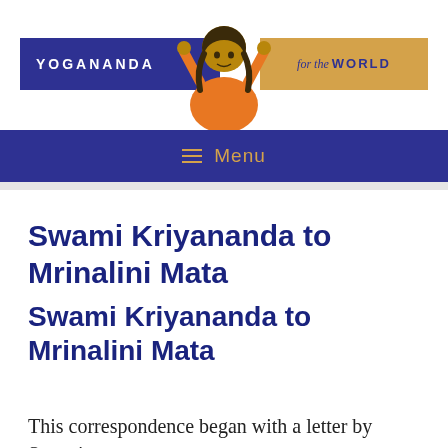[Figure (logo): Yogananda for the World website header with blue and gold logo bars and a figure of Yogananda in orange robes with hands raised]
☰ Menu
Swami Kriyananda to Mrinalini Mata
Swami Kriyananda to Mrinalini Mata
This correspondence began with a letter by Swami